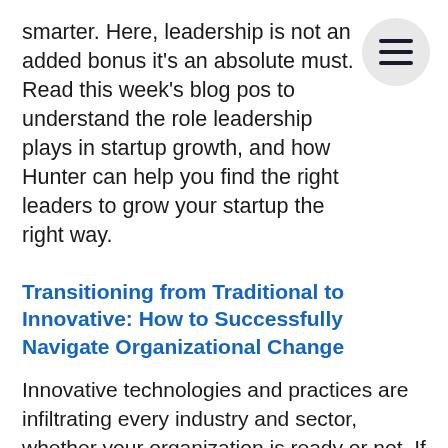smarter. Here, leadership is not an added bonus it's an absolute must. Read this week's blog post to understand the role leadership plays in startup growth, and how Hunter can help you find the right leaders to grow your startup the right way.
Transitioning from Traditional to Innovative: How to Successfully Navigate Organizational Change
Innovative technologies and practices are infiltrating every industry and sector, whether your organization is ready or not. If you're struggling to navigate change, this one's for you! Read all about how to successfully navigate the transition from traditional to innovative, with Hunter's executive search capital fundraising, and consulting services, and some must-learn tips.